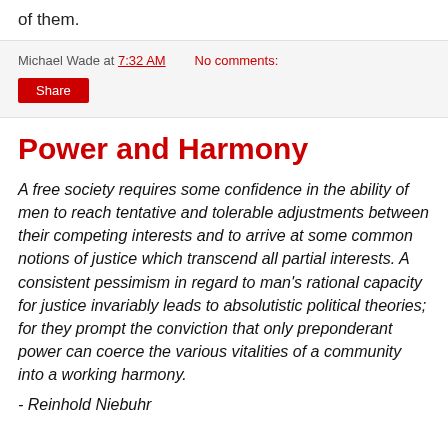of them.
Michael Wade at 7:32 AM   No comments:
Share
Power and Harmony
A free society requires some confidence in the ability of men to reach tentative and tolerable adjustments between their competing interests and to arrive at some common notions of justice which transcend all partial interests. A consistent pessimism in regard to man's rational capacity for justice invariably leads to absolutistic political theories; for they prompt the conviction that only preponderant power can coerce the various vitalities of a community into a working harmony.
- Reinhold Niebuhr